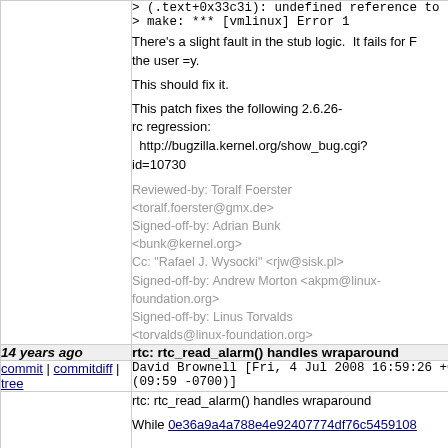> (.text+0x33c3i): undefined reference to `release'
> make: *** [vmlinux] Error 1

There's a slight fault in the stub logic. It fails for F the user =y.

This should fix it.

This patch fixes the following 2.6.26-rc regression:
  http://bugzilla.kernel.org/show_bug.cgi?id=10730

Reviewed-by: Toralf Foerster <toralf.foerster@gmx.de>
Signed-off-by: Adrian Bunk <bunk@kernel.org>
Cc: "Rafael J. Wysocki" <rjw@sisk.pl>
Signed-off-by: Andrew Morton <akpm@linux-foundation.org>
Signed-off-by: Linus Torvalds <torvalds@linux-foundation.org>
14 years ago
rtc: rtc_read_alarm() handles wraparound
commit | commitdiff | tree    David Brownell [Fri, 4 Jul 2008 16:59:26 +0000 (09:59 -0700)]
rtc: rtc_read_alarm() handles wraparound

While 0e36a9a4a788e4e92407774df76c5459108...